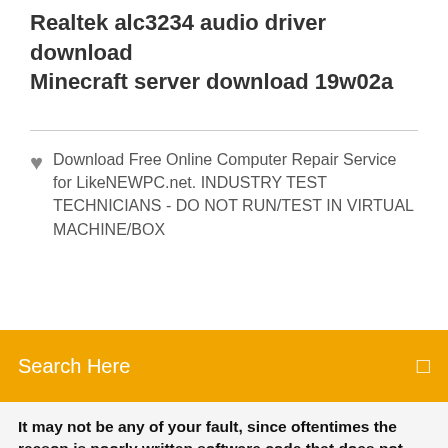Realtek alc3234 audio driver download
Minecraft server download 19w02a
Download Free Online Computer Repair Service for LikeNEWPC.net. INDUSTRY TEST TECHNICIANS - DO NOT RUN/TEST IN VIRTUAL MACHINE/BOX
Search Here
It may not be any of your fault, since oftentimes the reason is poorly written software code that does not ensure clean uninstalls. Auslogics Registry Cleaner is the
PC Wizard, free and safe download. Just for fun, test out PC Wizard's video benchmark to obtain a swarm of multi-coloured balls and lines all over your screen.